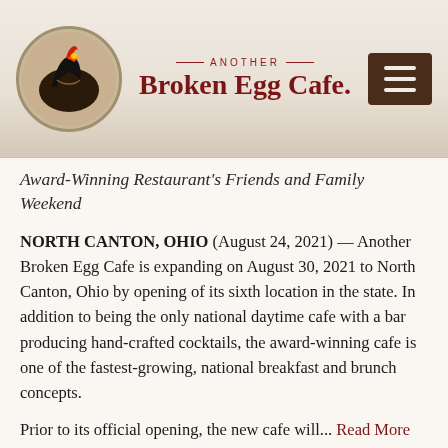[Figure (logo): Another Broken Egg Cafe logo: circular emblem with a rooster/bird illustration, text 'ANOTHER Broken Egg Cafe.' in dark red, and a dark brown hamburger menu icon button on the right]
Award-Winning Restaurant's Friends and Family Weekend
NORTH CANTON, OHIO (August 24, 2021) — Another Broken Egg Cafe is expanding on August 30, 2021 to North Canton, Ohio by opening of its sixth location in the state. In addition to being the only national daytime cafe with a bar producing hand-crafted cocktails, the award-winning cafe is one of the fastest-growing, national breakfast and brunch concepts.
Prior to its official opening, the new cafe will... Read More